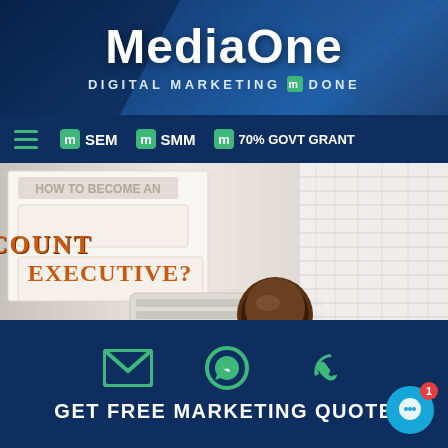MediaOne — DIGITAL MARKETING m DONE
[Figure (screenshot): MediaOne website header with navigation bar showing SEM, SMM, 70% GOVT GRANT links and hamburger menu]
[Figure (photo): Hero image showing a desk with keyboard, coffee cup, spreadsheet, and text labels ACCOUNT EXECUTIVE?]
Why And How Should I Hire An Account Executive?
05/09/2022
You have a product that you think will be popular and you want to
[Figure (infographic): Dark blue footer with email, WhatsApp, and phone icons in green, and text GET FREE MARKETING QUOTE]